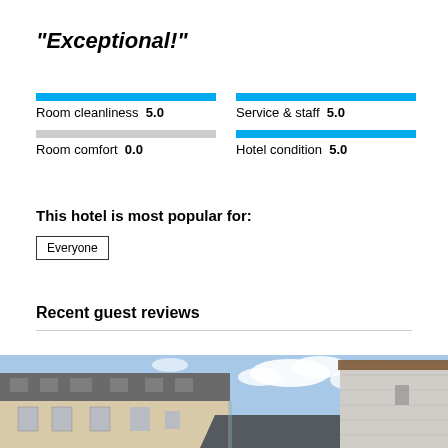"Exceptional!"
[Figure (infographic): Four horizontal rating bars in a 2x2 grid: Room cleanliness 5.0 (full blue bar), Service & staff 5.0 (full blue bar), Room comfort 0.0 (gray empty bar), Hotel condition 5.0 (full blue bar)]
This hotel is most popular for:
Everyone
Recent guest reviews
[Figure (photo): Exterior photo of a modern hotel building with large windows alongside an old stone tower structure, blue sky with clouds in background]